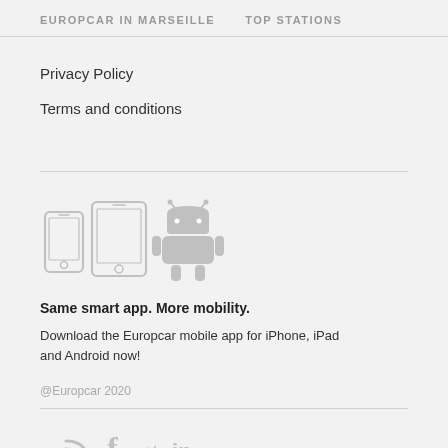EUROPCAR IN MARSEILLE   TOP STATIONS
Privacy Policy
Terms and conditions
[Figure (illustration): Icons of a smartphone, tablet, and Android robot representing mobile devices]
Same smart app. More mobility.
Download the Europcar mobile app for iPhone, iPad and Android now!
@Europcar 2020
[Figure (illustration): Social media icons: RSS/Europcar app, Facebook, Twitter, LinkedIn]